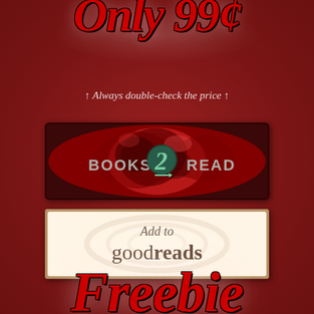Only 99¢
↑ Always double-check the price ↑
[Figure (logo): Books2Read button with red rose background and stylized number 2 logo with text BOOKS 2 READ]
[Figure (logo): Add to goodreads button with cream/beige background and tan border]
Freebie